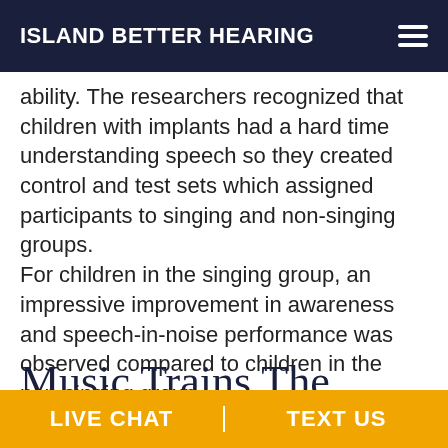ISLAND BETTER HEARING
ability. The researchers recognized that children with implants had a hard time understanding speech so they created control and test sets which assigned participants to singing and non-singing groups. For children in the singing group, an impressive improvement in awareness and speech-in-noise performance was observed compared to children in the non-singing group.
Music Trains The
LIVE CHAT   TEXT US